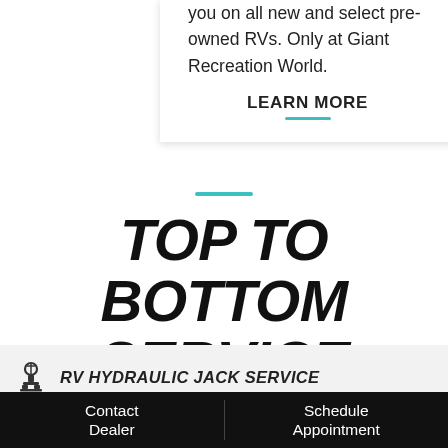you on all new and select pre-owned RVs. Only at Giant Recreation World.
LEARN MORE
TOP TO BOTTOM SERVICE
RV HYDRAULIC JACK SERVICE
Jacks, jumps, relays, controllers, etc.
Contact Dealer | Schedule Appointment